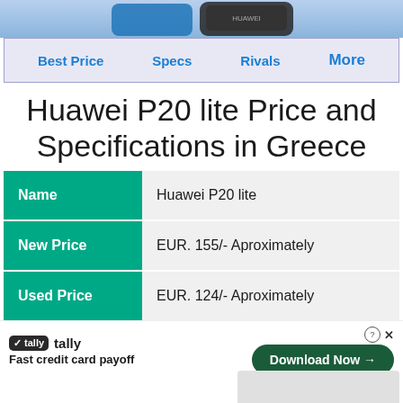[Figure (screenshot): Top strip showing partial Huawei P20 lite phone image on blue background]
Best Price  Specs  Rivals  More
Huawei P20 lite Price and Specifications in Greece
|  |  |
| --- | --- |
| Name | Huawei P20 lite |
| New Price | EUR. 155/- Aproximately |
| Used Price | EUR. 124/- Aproximately |
[Figure (screenshot): Tally advertisement banner: Fast credit card payoff, Download Now button]